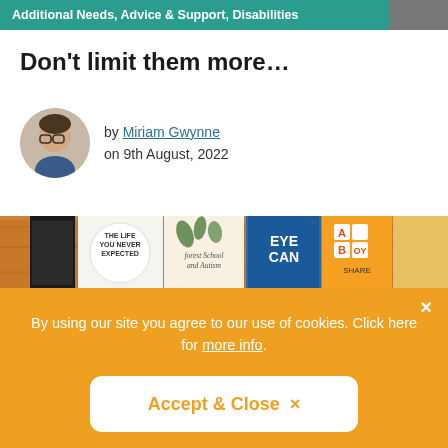Additional Needs, Advice & Support, Disabilities
Don't limit them more…
by Miriam Gwynne
on 9th August, 2022
[Figure (photo): Stack of books on a wooden shelf, including 'The Life You Never Expected', a book with tropical leaves, 'Eye Can', and 'A Boy' visible on spines. Partially obscured by cookie consent banner.]
By using our site you agree to our use of cookies. Click here for more info.
Accept & Close  ×